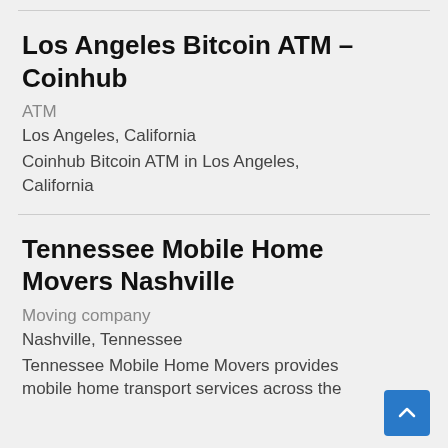Los Angeles Bitcoin ATM – Coinhub
ATM
Los Angeles, California
Coinhub Bitcoin ATM in Los Angeles, California
Tennessee Mobile Home Movers Nashville
Moving company
Nashville, Tennessee
Tennessee Mobile Home Movers provides mobile home transport services across the